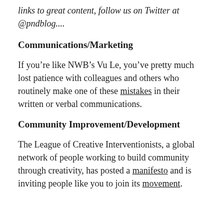links to great content, follow us on Twitter at @pndblog....
Communications/Marketing
If you're like NWB's Vu Le, you've pretty much lost patience with colleagues and others who routinely make one of these mistakes in their written or verbal communications.
Community Improvement/Development
The League of Creative Interventionists, a global network of people working to build community through creativity, has posted a manifesto and is inviting people like you to join its movement.